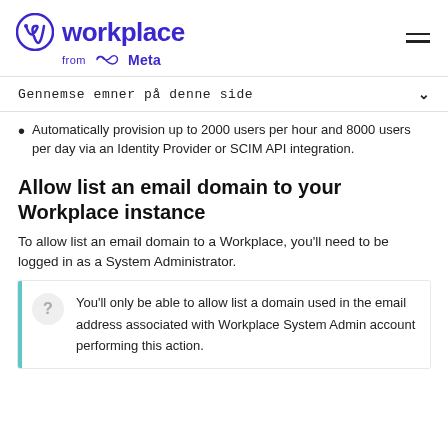Workplace from Meta
Gennemse emner på denne side
Automatically provision up to 2000 users per hour and 8000 users per day via an Identity Provider or SCIM API integration.
Allow list an email domain to your Workplace instance
To allow list an email domain to a Workplace, you'll need to be logged in as a System Administrator.
You'll only be able to allow list a domain used in the email address associated with Workplace System Admin account performing this action.